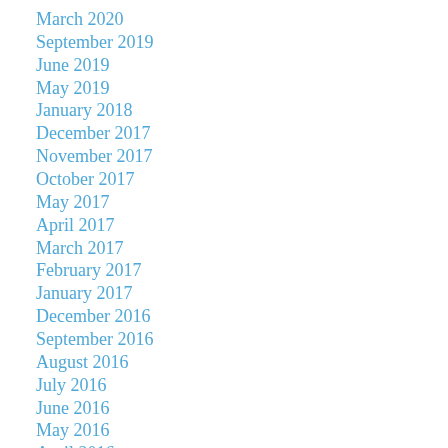March 2020
September 2019
June 2019
May 2019
January 2018
December 2017
November 2017
October 2017
May 2017
April 2017
March 2017
February 2017
January 2017
December 2016
September 2016
August 2016
July 2016
June 2016
May 2016
April 2016
March 2016